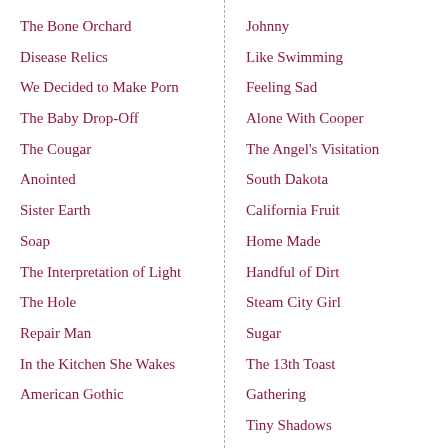The Bone Orchard
Disease Relics
We Decided to Make Porn
The Baby Drop-Off
The Cougar
Anointed
Sister Earth
Soap
The Interpretation of Light
The Hole
Repair Man
In the Kitchen She Wakes
American Gothic
Johnny
Like Swimming
Feeling Sad
Alone With Cooper
The Angel's Visitation
South Dakota
California Fruit
Home Made
Handful of Dirt
Steam City Girl
Sugar
The 13th Toast
Gathering
Tiny Shadows
Double-Exposure